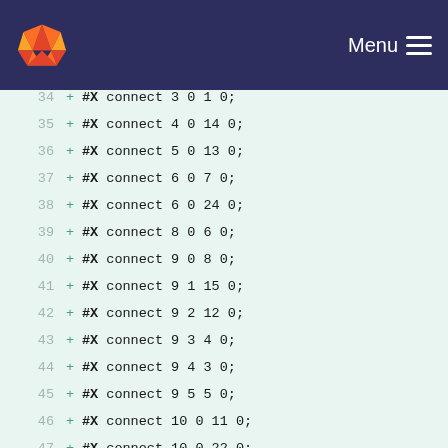GitLab — Menu
34  + #X connect 3 0 1 0;
35  + #X connect 4 0 14 0;
36  + #X connect 5 0 13 0;
37  + #X connect 6 0 7 0;
38  + #X connect 6 0 24 0;
39  + #X connect 8 0 6 0;
40  + #X connect 9 0 8 0;
41  + #X connect 9 1 15 0;
42  + #X connect 9 2 12 0;
43  + #X connect 9 3 4 0;
44  + #X connect 9 4 3 0;
45  + #X connect 9 5 5 0;
46  + #X connect 10 0 11 0;
47  + #X connect 10 0 22 0;
48  + #X connect 12 0 10 0;
49  + #X connect 15 0 16 0;
50  + #X connect 16 0 17 0;
51  + #X connect 17 0 18 0;
52  + #X connect 18 0 26 0;
53  + #X connect 20 0 21 0;